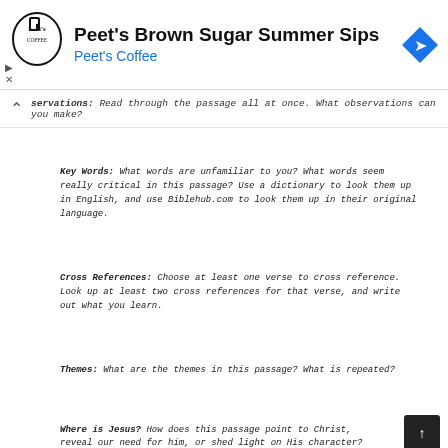[Figure (other): Peet's Coffee advertisement banner with logo, headline 'Peet's Brown Sugar Summer Sips', subheadline 'Peet's Coffee', and a blue navigation arrow icon]
Observations: Read through the passage all at once. What observations can you make?
Key Words: What words are unfamiliar to you? What words seem really critical in this passage? Use a dictionary to look them up in English, and use Biblehub.com to look them up in their original language.
Cross References: Choose at least one verse to cross reference. Look up at least two cross references for that verse, and write out what you learn.
Themes: What are the themes in this passage? What is repeated?
Where is Jesus? How does this passage point to Christ, reveal our need for him, or shed light on His character?